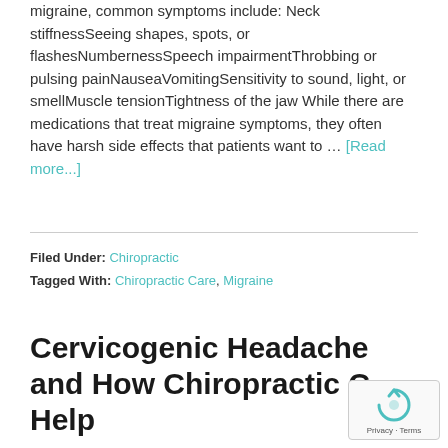migraine, common symptoms include: Neck stiffnessSeeing shapes, spots, or flashesNumbernessSpeech impairmentThrobbing or pulsing painNauseaVomitingSensitivity to sound, light, or smellMuscle tensionTightness of the jaw While there are medications that treat migraine symptoms, they often have harsh side effects that patients want to … [Read more...]
Filed Under: Chiropractic
Tagged With: Chiropractic Care, Migraine
Cervicogenic Headache and How Chiropractic C… Help